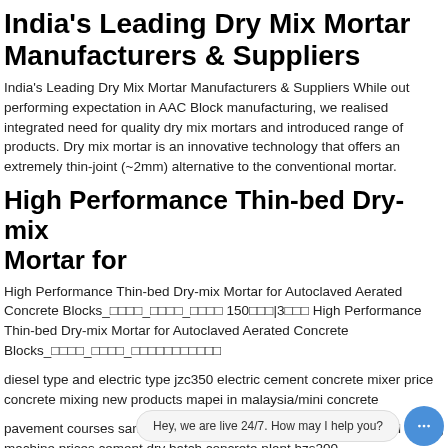India's Leading Dry Mix Mortar Manufacturers & Suppliers
India's Leading Dry Mix Mortar Manufacturers & Suppliers While out performing expectation in AAC Block manufacturing, we realised integrated need for quality dry mix mortars and introduced range of products. Dry mix mortar is an innovative technology that offers an extremely thin-joint (~2mm) alternative to the conventional mortar.
High Performance Thin-bed Dry-mix Mortar for
High Performance Thin-bed Dry-mix Mortar for Autoclaved Aerated Concrete Blocks_    _    _     150   |3    High Performance Thin-bed Dry-mix Mortar for Autoclaved Aerated Concrete Blocks_    _    _           
diesel type and electric type jzc350 electric cement concrete mixer price concrete mixing new products mapei in malaysia/mini concrete
pavement courses sank cement and sand mixing machine prices cement dry batch concrete plant hzs200